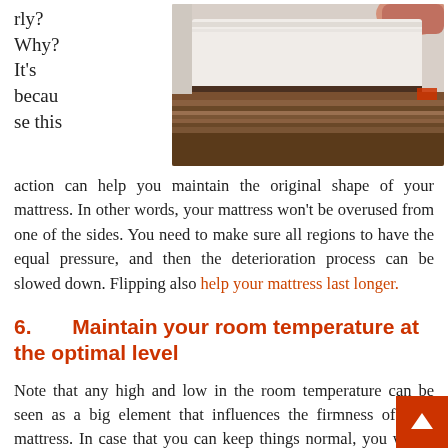rly? Why? It's because this
[Figure (photo): Hands flipping a mattress over a wooden bed frame]
action can help you maintain the original shape of your mattress. In other words, your mattress won't be overused from one of the sides. You need to make sure all regions to have the equal pressure, and then the deterioration process can be slowed down. Flipping also help your mattress last longer.
6.    Maintain your room temperature at the optimal level
Note that any high and low in the room temperature can be seen as a big element that influences the firmness of your mattress. In case that you can keep things normal, you would dodge the whole deterioration process for the